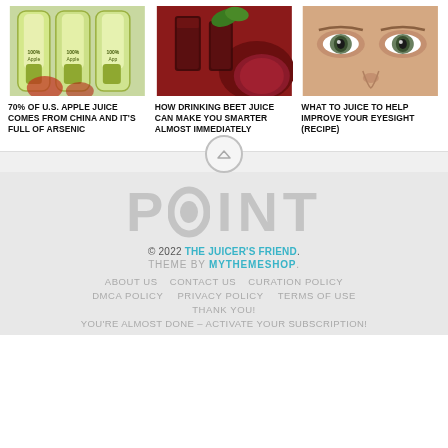[Figure (photo): Three bottles of 100% Apple juice]
[Figure (photo): Two glasses of dark beet juice with beet and green leaves]
[Figure (photo): Close-up of a woman's eyes and nose]
70% OF U.S. APPLE JUICE COMES FROM CHINA AND IT'S FULL OF ARSENIC
HOW DRINKING BEET JUICE CAN MAKE YOU SMARTER ALMOST IMMEDIATELY
WHAT TO JUICE TO HELP IMPROVE YOUR EYESIGHT (RECIPE)
POINT
© 2022 THE JUICER'S FRIEND.
THEME BY MYTHEMESHOP.
ABOUT US   CONTACT US   CURATION POLICY
DMCA POLICY   PRIVACY POLICY   TERMS OF USE
THANK YOU!
YOU'RE ALMOST DONE – ACTIVATE YOUR SUBSCRIPTION!